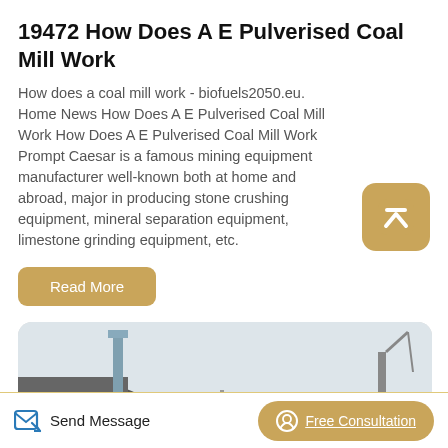19472 How Does A E Pulverised Coal Mill Work
How does a coal mill work - biofuels2050.eu. Home News How Does A E Pulverised Coal Mill Work How Does A E Pulverised Coal Mill Work Prompt Caesar is a famous mining equipment manufacturer well-known both at home and abroad, major in producing stone crushing equipment, mineral separation equipment, limestone grinding equipment, etc.
[Figure (other): Scroll-to-top button with upward chevron icon, golden/tan rounded square background]
Read More
[Figure (photo): Partial photo showing industrial equipment, a smokestack or tower structure on the left and a crane or equipment on the right against a light sky]
Send Message
Free Consultation